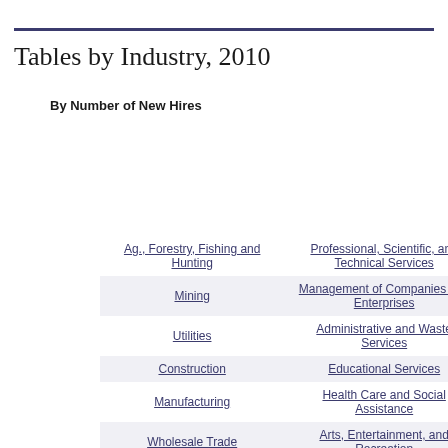Tables by Industry, 2010
By Number of New Hires
| Column1 | Column2 |
| --- | --- |
| Ag., Forestry, Fishing and Hunting | Professional, Scientific, and Technical Services |
| Mining | Management of Companies and Enterprises |
| Utilities | Administrative and Waste Services |
| Construction | Educational Services |
| Manufacturing | Health Care and Social Assistance |
| Wholesale Trade | Arts, Entertainment, and Recreation |
| Retail Trade | Accommodation and Food Services |
| Transportation & Warehousing | Other Services |
| Information | Public Administration |
| Finance & Insurance |  |